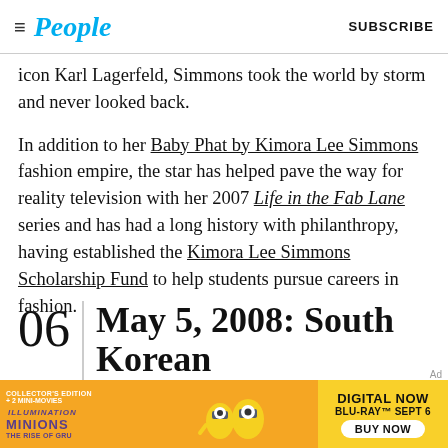People — SUBSCRIBE
icon Karl Lagerfeld, Simmons took the world by storm and never looked back.
In addition to her Baby Phat by Kimora Lee Simmons fashion empire, the star has helped pave the way for reality television with her 2007 Life in the Fab Lane series and has had a long history with philanthropy, having established the Kimora Lee Simmons Scholarship Fund to help students pursue careers in fashion.
06 | May 5, 2008: South Korean
[Figure (other): Minions: The Rise of Gru advertisement banner — Collector's Edition + 2 Mini-Movies, Digital Now, Blu-Ray Sept 6, Buy Now]